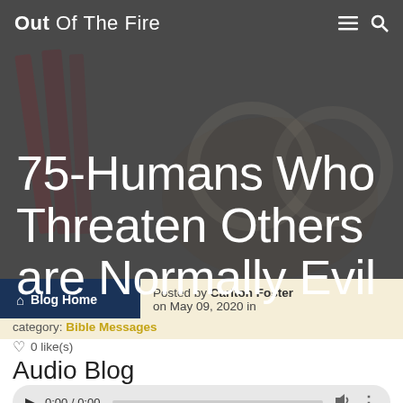Out Of The Fire
75-Humans Who Threaten Others are Normally Evil
Blog Home  Posted by Carlton Foster on May 09, 2020 in
category: Bible Messages
0 like(s)
Audio Blog
[Figure (other): Audio player bar showing 0:00 / 0:00 with play button, progress bar, volume icon, and more options icon]